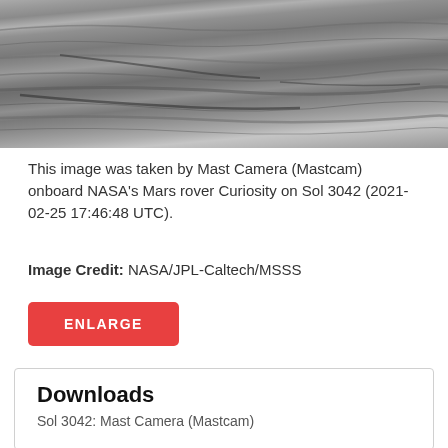[Figure (photo): Black and white photograph of layered Martian rock surface taken by NASA's Curiosity rover Mast Camera on Sol 3042]
This image was taken by Mast Camera (Mastcam) onboard NASA's Mars rover Curiosity on Sol 3042 (2021-02-25 17:46:48 UTC).
Image Credit: NASA/JPL-Caltech/MSSS
ENLARGE
Downloads
Sol 3042: Mast Camera (Mastcam)